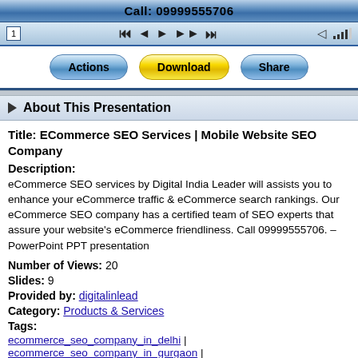Call: 09999555706
Title: ECommerce SEO Services | Mobile Website SEO Company
Description:
eCommerce SEO services by Digital India Leader will assists you to enhance your eCommerce traffic & eCommerce search rankings. Our eCommerce SEO company has a certified team of SEO experts that assure your website's eCommerce friendliness. Call 09999555706. – PowerPoint PPT presentation
Number of Views: 20
Slides: 9
Provided by: digitalinlead
Category: Products & Services
Tags:
ecommerce_seo_company_in_delhi
ecommerce_seo_company_in_gurgaon
ecommerce_seo_company_in_india
ecommerce_seo_services_in_delhi
ecommerce_seo_services_in_gurgaon